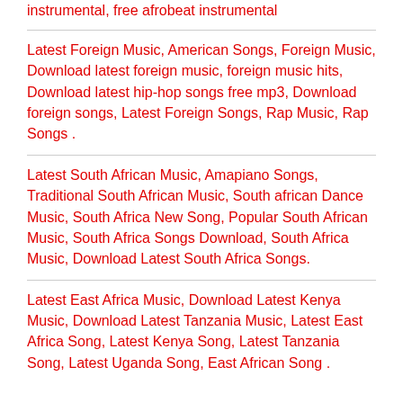instrumental, free afrobeat instrumental
Latest Foreign Music, American Songs, Foreign Music, Download latest foreign music, foreign music hits, Download latest hip-hop songs free mp3, Download foreign songs, Latest Foreign Songs, Rap Music, Rap Songs .
Latest South African Music, Amapiano Songs, Traditional South African Music, South african Dance Music, South Africa New Song, Popular South African Music, South Africa Songs Download, South Africa Music, Download Latest South Africa Songs.
Latest East Africa Music, Download Latest Kenya Music, Download Latest Tanzania Music, Latest East Africa Song, Latest Kenya Song, Latest Tanzania Song, Latest Uganda Song, East African Song .